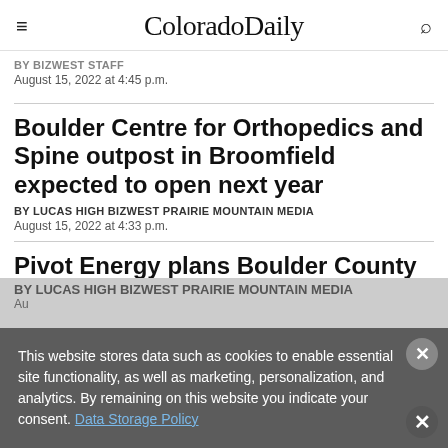ColoradoDaily
August 15, 2022 at 4:45 p.m.
Boulder Centre for Orthopedics and Spine outpost in Broomfield expected to open next year
BY LUCAS HIGH BIZWEST PRAIRIE MOUNTAIN MEDIA
August 15, 2022 at 4:33 p.m.
Pivot Energy plans Boulder County solar fa...
BY LUCAS HIGH BIZWEST PRAIRIE MOUNTAIN MEDIA
This website stores data such as cookies to enable essential site functionality, as well as marketing, personalization, and analytics. By remaining on this website you indicate your consent. Data Storage Policy